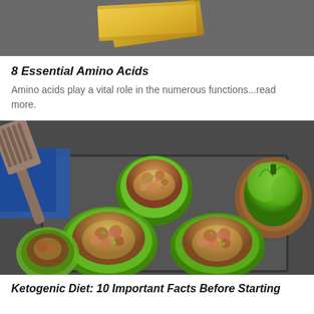[Figure (photo): Top portion of a food photo showing yellow/orange cheese slices on a dark background, partially cropped]
8 Essential Amino Acids
Amino acids play a vital role in the numerous functions...read more.
[Figure (photo): Overhead view of stuffed green bell peppers filled with meat, cheese, red onions and herbs in a baking tray, with a whole green bell pepper in a wooden bowl and a spatula visible]
Ketogenic Diet: 10 Important Facts Before Starting